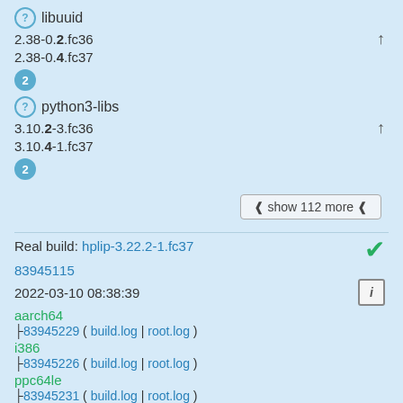⓵ libuuid
2.38-0.2.fc36
2.38-0.4.fc37
2
⓵ python3-libs
3.10.2-3.fc36
3.10.4-1.fc37
2
≫ show 112 more ≫
Real build: hplip-3.22.2-1.fc37
83945115
2022-03-10 08:38:39
aarch64
├83945229 ( build.log | root.log )
i386
├83945226 ( build.log | root.log )
ppc64le
├83945231 ( build.log | root.log )
s390x
├83945232 ( build.log | root.log )
x86_64